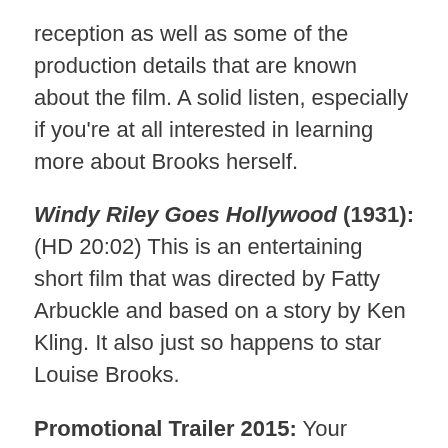reception as well as some of the production details that are known about the film. A solid listen, especially if you're at all interested in learning more about Brooks herself.
Windy Riley Goes Hollywood (1931): (HD 20:02) This is an entertaining short film that was directed by Fatty Arbuckle and based on a story by Ken Kling. It also just so happens to star Louise Brooks.
Promotional Trailer 2015: Your standard restoration trailer, it's more of an advertisement that the film has been cleaned up than a promotion of the film itself or the story.
Final Thoughts